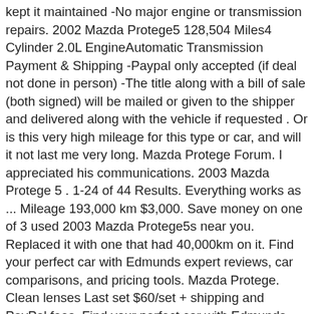kept it maintained -No major engine or transmission repairs. 2002 Mazda Protege5 128,504 Miles4 Cylinder 2.0L EngineAutomatic Transmission Payment & Shipping -Paypal only accepted (if deal not done in person) -The title along with a bill of sale (both signed) will be mailed or given to the shipper and delivered along with the vehicle if requested . Or is this very high mileage for this type or car, and will it not last me very long. Mazda Protege Forum. I appreciated his communications. 2003 Mazda Protege 5 . 1-24 of 44 Results. Everything works as ... Mileage 193,000 km $3,000. Save money on one of 3 used 2003 Mazda Protege5s near you. Replaced it with one that had 40,000km on it. Find your perfect car with Edmunds expert reviews, car comparisons, and pricing tools. Mazda Protege. Clean lenses Last set $60/set + shipping and PayPal fees. Find your perfect car with Edmunds expert reviews, car comparisons, and pricing tools. Any car can have a long life if it is well maintained and driven lightly. balmo fueled-up their 2003 Mazda Protege5. Mazda is said to be working on an entire lineup of cars that could rival high-end vehicles, and it doesn't target the interior. Mazda 7, 2003...